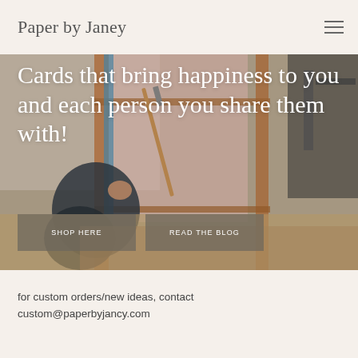Paper by Janey
[Figure (photo): Person painting on canvas on an easel, with paintbrush in hand wearing fingerless gloves, wooden easel frame visible, artistic studio setting]
Cards that bring happiness to you and each person you share them with!
SHOP HERE
READ THE BLOG
for custom orders/new ideas, contact custom@paperbyjancy.com